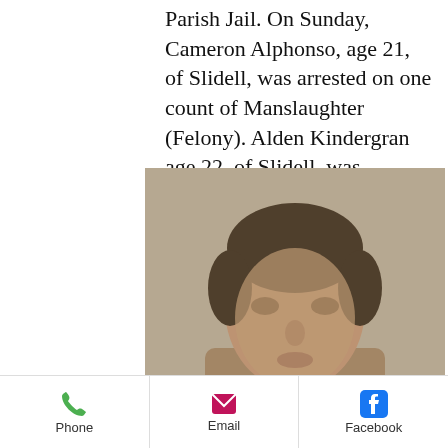Parish Jail. On Sunday, Cameron Alphonso, age 21, of Slidell, was arrested on one count of Manslaughter (Felony). Alden Kindergran age 22, of Slidell, was arrested for one count of Disturbing the Peace. (related coverage)
[Figure (photo): Blurred mugshot photo of a person against a neutral background]
Phone   Email   Facebook